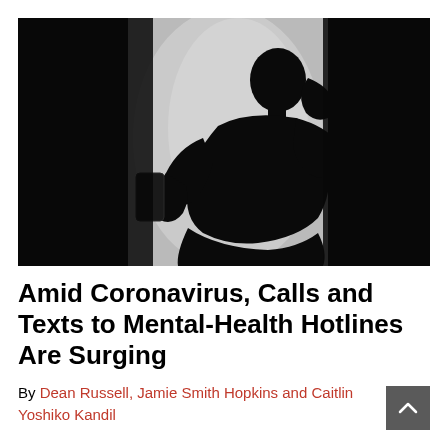[Figure (photo): Black and white silhouette of a person sitting and looking at a phone/device, illuminated from behind by a bright light source, creating a dark moody atmosphere.]
Amid Coronavirus, Calls and Texts to Mental-Health Hotlines Are Surging
By Dean Russell, Jamie Smith Hopkins and Caitlin Yoshiko Kandil